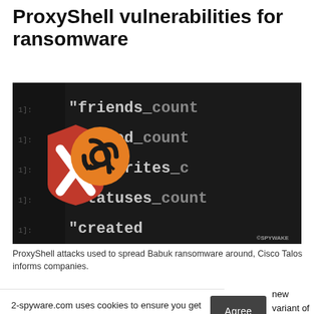ProxyShell vulnerabilities for ransomware
[Figure (photo): Screenshot of code with a cybersecurity threat icon overlay — a red shield with white X and an orange biohazard symbol emoji — against a dark background showing database field names like 'friends', 'listed', 'favourites', 'statuses', 'created'. SPYWAKE watermark visible bottom right.]
ProxyShell attacks used to spread Babuk ransomware around, Cisco Talos informs companies.
2-spyware.com uses cookies to ensure you get the best experience.
Privacy policy
Agree
new variant of vers.[2] Most cated in the U.S.